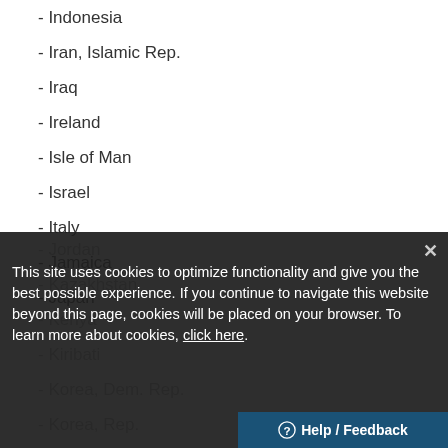- Indonesia
- Iran, Islamic Rep.
- Iraq
- Ireland
- Isle of Man
- Israel
- Italy
- Jamaica
- Japan
- Jordan
- Kazakhstan
- Kenya
- Kiribati
- Korea, Dem. Rep.
- Korea, Rep.
- Kuwait
This site uses cookies to optimize functionality and give you the best possible experience. If you continue to navigate this website beyond this page, cookies will be placed on your browser. To learn more about cookies, click here.